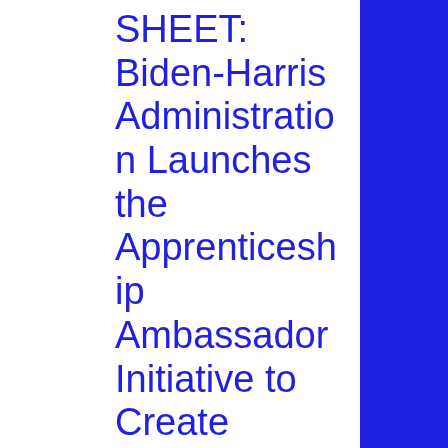SHEET: Biden-Harris Administration Launches the Apprenticeship Ambassador Initiative to Create Equitable, Debt-Free Pathways